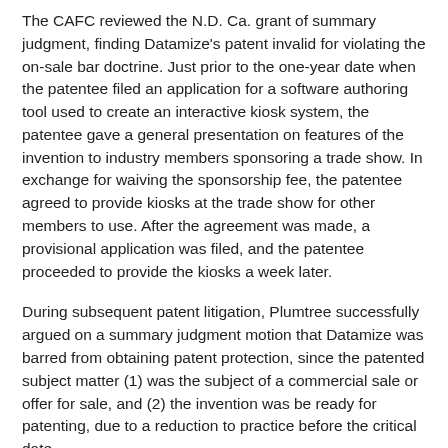The CAFC reviewed the N.D. Ca. grant of summary judgment, finding Datamize's patent invalid for violating the on-sale bar doctrine. Just prior to the one-year date when the patentee filed an application for a software authoring tool used to create an interactive kiosk system, the patentee gave a general presentation on features of the invention to industry members sponsoring a trade show. In exchange for waiving the sponsorship fee, the patentee agreed to provide kiosks at the trade show for other members to use. After the agreement was made, a provisional application was filed, and the patentee proceeded to provide the kiosks a week later.
During subsequent patent litigation, Plumtree successfully argued on a summary judgment motion that Datamize was barred from obtaining patent protection, since the patented subject matter (1) was the subject of a commercial sale or offer for sale, and (2) the invention was be ready for patenting, due to a reduction to practice before the critical date.